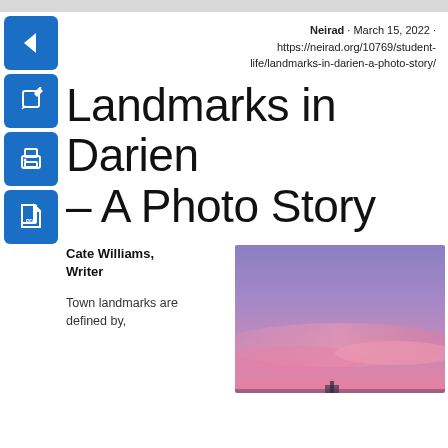Neirad · March 15, 2022 · https://neirad.org/10769/student-life/landmarks-in-darien-a-photo-story/
Landmarks in Darien – A Photo Story
Cate Williams, Writer
Town landmarks are defined by,
[Figure (photo): A sunset sky with purple and pink hues, with a dark silhouette of a structure at the bottom]